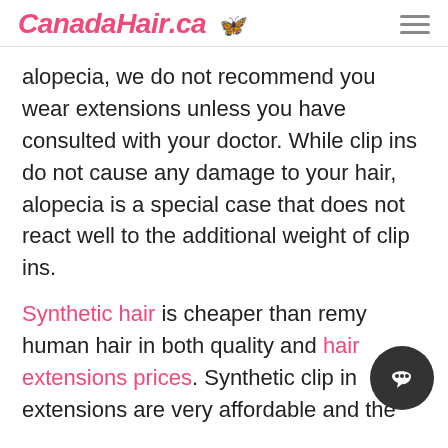CanadaHair.ca
alopecia, we do not recommend you wear extensions unless you have consulted with your doctor. While clip ins do not cause any damage to your hair, alopecia is a special case that does not react well to the additional weight of clip ins.
Synthetic hair is cheaper than remy human hair in both quality and hair extensions prices. Synthetic clip in extensions are very affordable and the